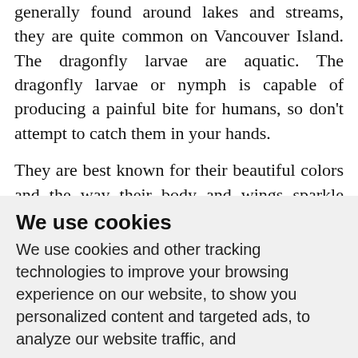generally found around lakes and streams, they are quite common on Vancouver Island. The dragonfly larvae are aquatic. The dragonfly larvae or nymph is capable of producing a painful bite for humans, so don't attempt to catch them in your hands.
They are best known for their beautiful colors and the way their body and wings sparkle when they are hovering over the water
We use cookies
We use cookies and other tracking technologies to improve your browsing experience on our website, to show you personalized content and targeted ads, to analyze our website traffic, and